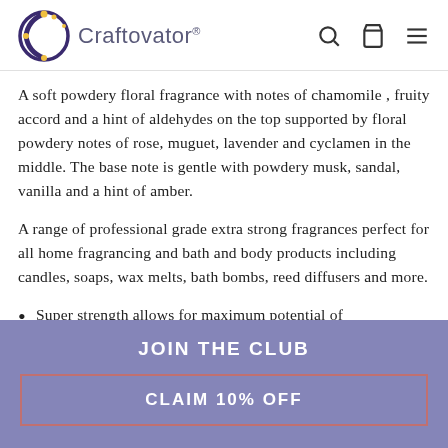Craftovator®
A soft powdery floral fragrance with notes of chamomile , fruity accord and a hint of aldehydes on the top supported by floral powdery notes of rose, muguet, lavender and cyclamen in the middle. The base note is gentle with powdery musk, sandal, vanilla and a hint of amber.
A range of professional grade extra strong fragrances perfect for all home fragrancing and bath and body products including candles, soaps, wax melts, bath bombs, reed diffusers and more.
Super strength allows for maximum potential of
JOIN THE CLUB
CLAIM 10% OFF